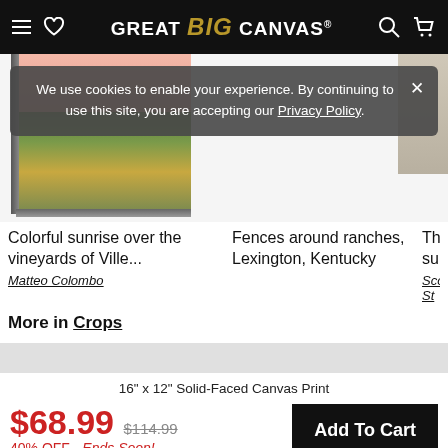GREAT BIG CANVAS.
[Figure (screenshot): Cookie consent banner overlaying product thumbnails on Great Big Canvas website. Shows canvas prints of vineyard and fence scenes.]
We use cookies to enable your experience. By continuing to use this site, you are accepting our Privacy Policy.
Colorful sunrise over the vineyards of Ville...
Matteo Colombo
Fences around ranches, Lexington, Kentucky
The Da sunrise
Scott St
More in Crops
16" x 12" Solid-Faced Canvas Print
$68.99  $114.99  40% OFF - Ends Soon!
Add To Cart